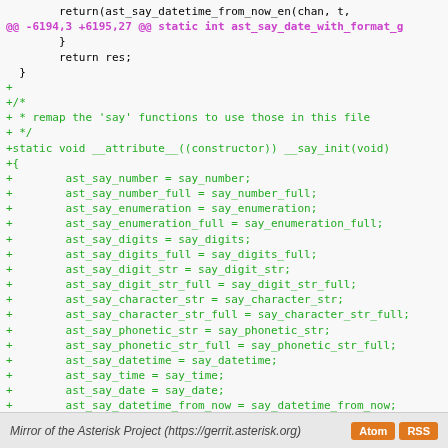[Figure (screenshot): Code diff view showing a git diff of a C source file. Lines show closing braces and return statements in black, a diff hunk header in magenta/pink, and added lines (+) in green. The added code remaps 'say' functions to those in the file using a static constructor function __say_init(void).]
Mirror of the Asterisk Project (https://gerrit.asterisk.org)   Atom  RSS